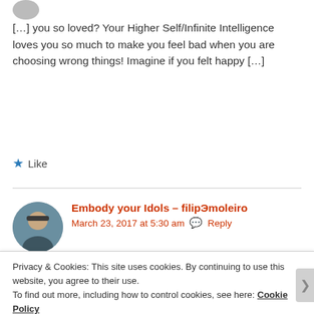[Figure (photo): Small circular avatar photo of a person, partially cropped at top of page]
[…] you so loved? Your Higher Self/Infinite Intelligence loves you so much to make you feel bad when you are choosing wrong things! Imagine if you felt happy […]
★ Like
[Figure (photo): Circular avatar photo of a man wearing a cap, outdoors background]
Embody your Idols – filipЭmoleiro
March 23, 2017 at 5:30 am   💬 Reply
Privacy & Cookies: This site uses cookies. By continuing to use this website, you agree to their use.
To find out more, including how to control cookies, see here: Cookie Policy
Close and accept